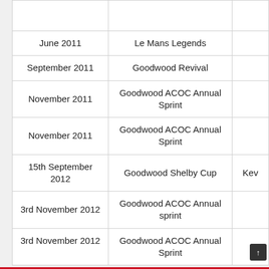| Date | Event |  |
| --- | --- | --- |
|  |  |  |
| June 2011 | Le Mans Legends |  |
| September 2011 | Goodwood Revival |  |
| November 2011 | Goodwood ACOC Annual Sprint |  |
| November 2011 | Goodwood ACOC Annual Sprint |  |
| 15th September 2012 | Goodwood Shelby Cup | Kev |
| 3rd November 2012 | Goodwood ACOC Annual sprint |  |
| 3rd November 2012 | Goodwood ACOC Annual Sprint |  |